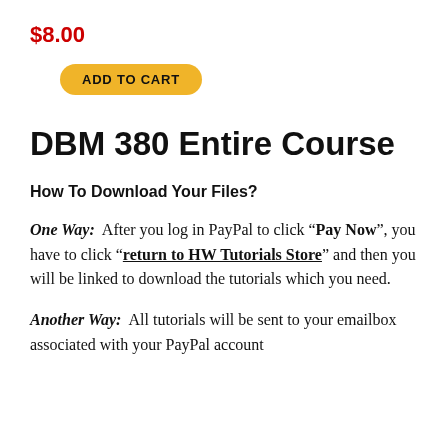$8.00
ADD TO CART
DBM 380 Entire Course
How To Download Your Files?
One Way:  After you log in PayPal to click “Pay Now”, you have to click “return to HW Tutorials Store” and then you will be linked to download the tutorials which you need.
Another Way:  All tutorials will be sent to your emailbox associated with your PayPal account